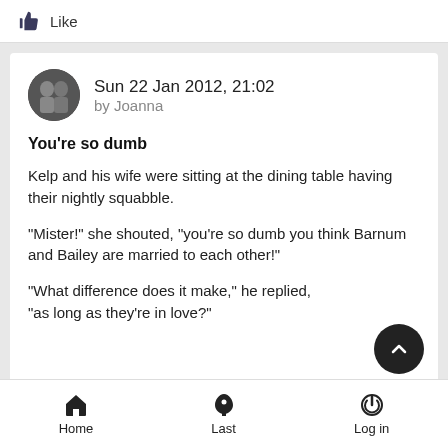Like
Sun 22 Jan 2012, 21:02
by Joanna
You're so dumb
Kelp and his wife were sitting at the dining table having their nightly squabble.

"Mister!" she shouted, "you're so dumb you think Barnum and Bailey are married to each other!"

"What difference does it make," he replied, "as long as they're in love?"
Like
Home   Last   Log in